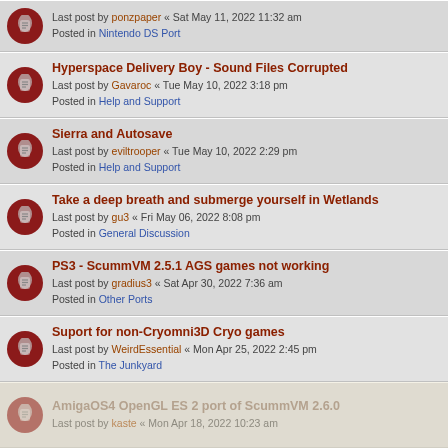Last post by ponzpaper « Sat May 11, 2022 11:32 am
Posted in Nintendo DS Port
Hyperspace Delivery Boy - Sound Files Corrupted
Last post by Gavaroc « Tue May 10, 2022 3:18 pm
Posted in Help and Support
Sierra and Autosave
Last post by eviltrooper « Tue May 10, 2022 2:29 pm
Posted in Help and Support
Take a deep breath and submerge yourself in Wetlands
Last post by gu3 « Fri May 06, 2022 8:08 pm
Posted in General Discussion
PS3 - ScummVM 2.5.1 AGS games not working
Last post by gradius3 « Sat Apr 30, 2022 7:36 am
Posted in Other Ports
Suport for non-Cryomni3D Cryo games
Last post by WeirdEssential « Mon Apr 25, 2022 2:45 pm
Posted in The Junkyard
AmigaOS4 OpenGL ES 2 port of ScummVM 2.6.0
Last post by kaste « Mon Apr 18, 2022 10:23 am
TTS voice switching to MS Anna
Last post by 60fpshacksrock « Fri Apr 01, 2022 5:55 am
Posted in Help and Support
FPS/Refresh rate issue
Last post by 60fpshacksrock « Fri Apr 01, 2022 5:16 am
Posted in Wii Port
This website uses cookies to ensure you get the best experience on our website. Learn more
Got it!